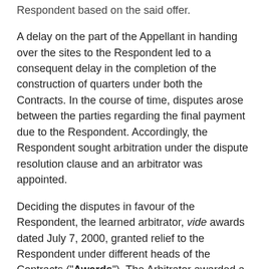Respondent based on the said offer.
A delay on the part of the Appellant in handing over the sites to the Respondent led to a consequent delay in the completion of the construction of quarters under both the Contracts. In the course of time, disputes arose between the parties regarding the final payment due to the Respondent. Accordingly, the Respondent sought arbitration under the dispute resolution clause and an arbitrator was appointed.
Deciding the disputes in favour of the Respondent, the learned arbitrator, vide awards dated July 7, 2000, granted relief to the Respondent under different heads of the Contracts (“Awards”). The Arbitrator awarded a sum of Rs 23,89,424/- along with an interest at 18% per annum pendente lite and 21% future interest, with respect to the First Project. With respect to the Second